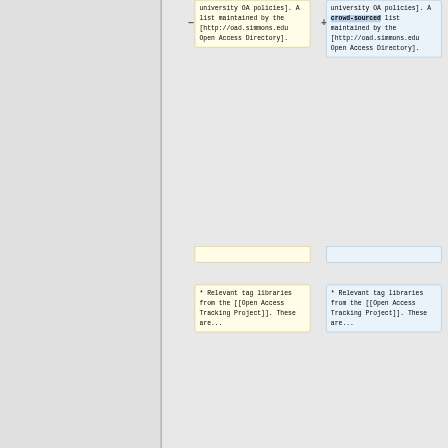university OA policies]. A list maintained by the [http://oad.simmons.edu Open Access Directory].
university OA policies]. A crowd-sourced list maintained by the [http://oad.simmons.edu Open Access Directory].
* Relevant tag libraries from the [[Open Access Tracking Project]]. These are...
* Relevant tag libraries from the [[Open Access Tracking Project]]. These are...